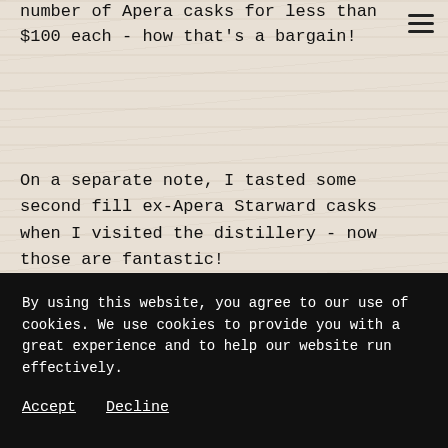number of Apera casks for less than $100 each - how that's a bargain!
On a separate note, I tasted some second fill ex-Apera Starward casks when I visited the distillery - now those are fantastic!
By using this website, you agree to our use of cookies. We use cookies to provide you with a great experience and to help our website run effectively.
Accept
Decline